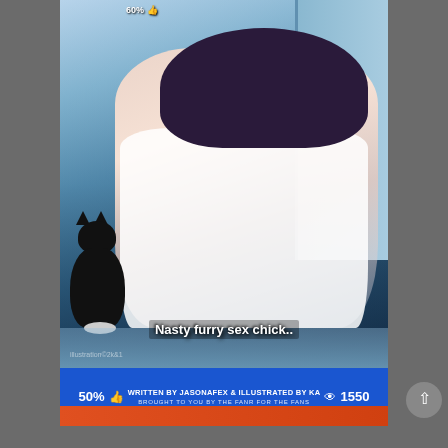[Figure (illustration): Anime-style illustration of a cat-girl character in a white frilly outfit crouching near a refrigerator, with a black cat sitting beside her and a bowl on the floor. Caption reads 'Nasty furry sex chick..' with watermark 'illustration©2k&1'.]
Nasty furry sex chick..
50% 👍 WRITTEN BY JASONAFEX & ILLUSTRATED BY KA 👁 1550
BROUGHT TO YOU BY THE FANR FOR THE FANS